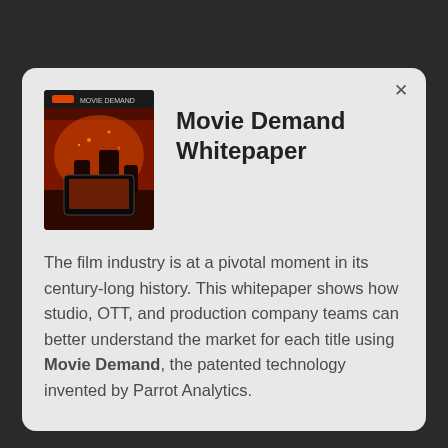[Figure (illustration): Cover image of the Movie Demand Whitepaper showing cinematic/film imagery with orange and dark tones]
Movie Demand Whitepaper
The film industry is at a pivotal moment in its century-long history. This whitepaper shows how studio, OTT, and production company teams can better understand the market for each title using Movie Demand, the patented technology invented by Parrot Analytics.